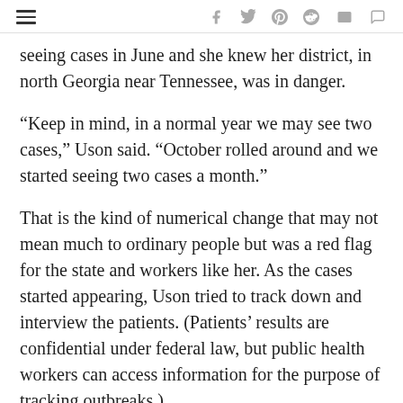Navigation and social sharing icons
seeing cases in June and she knew her district, in north Georgia near Tennessee, was in danger.
“Keep in mind, in a normal year we may see two cases,” Uson said. “October rolled around and we started seeing two cases a month.”
That is the kind of numerical change that may not mean much to ordinary people but was a red flag for the state and workers like her. As the cases started appearing, Uson tried to track down and interview the patients. (Patients’ results are confidential under federal law, but public health workers can access information for the purpose of tracking outbreaks.)